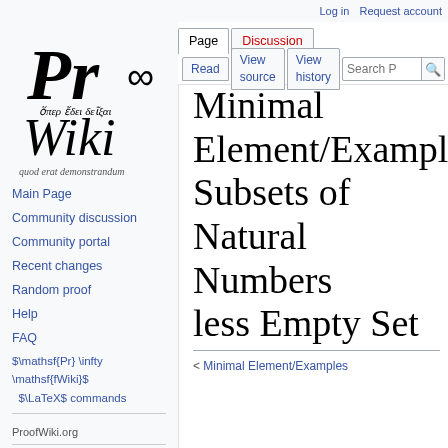Log in   Request account
[Figure (logo): ProofWiki logo with infinity symbol, Greek text 'όπερ έδει δείξαι', stylized 'Wiki' text, and Latin 'quod erat demonstrandum']
Main Page
Community discussion
Community portal
Recent changes
Random proof
Help
FAQ
$\mathsf{Pr} \infty \mathsf{fWiki}$ $\LaTeX$ commands
ProofWiki.org
Proof Index
Definition Index
Minimal Element/Examples/Subsets of Natural Numbers less Empty Set
< Minimal Element/Examples